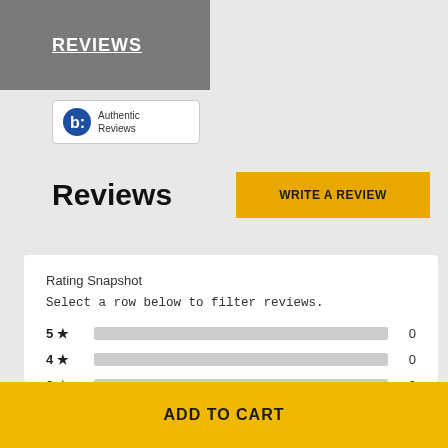REVIEWS
[Figure (logo): Bazaarvoice Authentic Reviews badge logo]
Reviews
WRITE A REVIEW
Rating Snapshot
Select a row below to filter reviews.
5 ★  0
4 ★  0
3 ★  0
2 ★  0
ADD TO CART